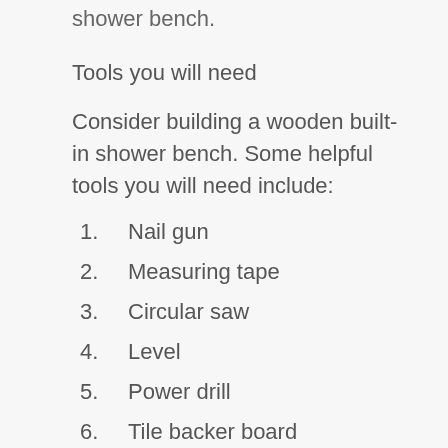shower bench.
Tools you will need
Consider building a wooden built-in shower bench. Some helpful tools you will need include:
1. Nail gun
2. Measuring tape
3. Circular saw
4. Level
5. Power drill
6. Tile backer board
7. Tile trowel
8. Thin set tile